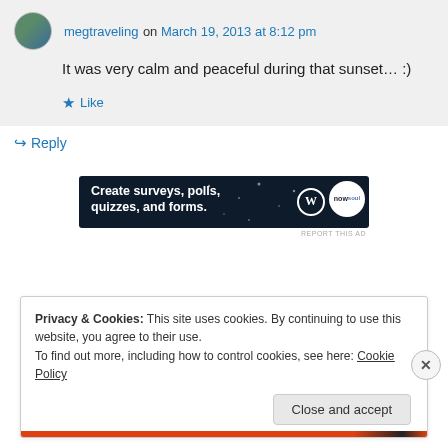megtraveling on March 19, 2013 at 8:12 pm
It was very calm and peaceful during that sunset... :)
Like
↳ Reply
[Figure (screenshot): Advertisement banner: Create surveys, polls, quizzes, and forms. Dark navy background with WordPress logo and poll logo.]
REPORT THIS AD
Privacy & Cookies: This site uses cookies. By continuing to use this website, you agree to their use.
To find out more, including how to control cookies, see here: Cookie Policy
Close and accept